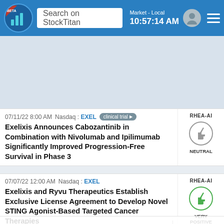Search on StockTitan | Market - Local | 10:57:14 AM
[Figure (screenshot): Advertisement / banner placeholder area]
07/11/22 8:00 AM  Nasdaq : EXEL  clinical trial  RHEA-AI
Exelixis Announces Cabozantinib in Combination with Nivolumab and Ipilimumab Significantly Improved Progression-Free Survival in Phase 3
NEUTRAL
07/07/22 12:00 AM  Nasdaq : EXEL  RHEA-AI
Exelixis and Ryvu Therapeutics Establish Exclusive License Agreement to Develop Novel STING Agonist-Based Targeted Cancer Therapies
VERY POSITIVE
07/05/22 4:05 PM  Nasdaq : EXEL  conferences  RHEA-AI